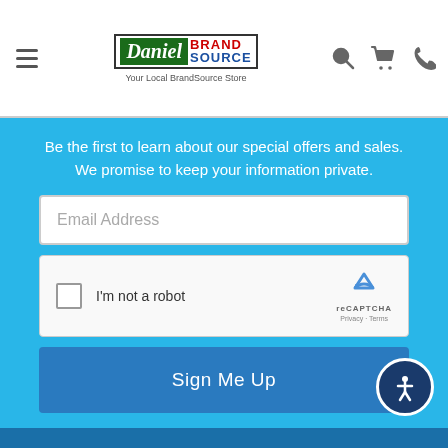[Figure (logo): Daniel Brand Source logo with tagline 'Your Local BrandSource Store']
Be the first to learn about our special offers and sales. We promise to keep your information private.
Email Address
[Figure (other): reCAPTCHA widget with checkbox 'I'm not a robot']
Sign Me Up